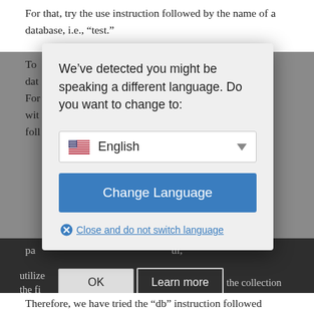For that, try the use instruction followed by the name of a database, i.e., “test.”
[Figure (screenshot): A browser language detection modal dialog overlaid on a webpage. The dialog says 'We’ve detected you might be speaking a different language. Do you want to change to:' with a dropdown showing an American flag and 'English', a blue 'Change Language' button, and a 'Close and do not switch language' link. Below the modal are 'OK' and 'Learn more' buttons on a dark background.]
Therefore, we have tried the “db” instruction followed